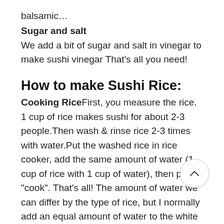balsamic…
Sugar and salt
We add a bit of sugar and salt in vinegar to make sushi vinegar That's all you need!
How to make Sushi Rice:
Cooking RiceFirst, you measure the rice. 1 cup of rice makes sushi for about 2-3 people.Then wash & rinse rice 2-3 times with water.Put the washed rice in rice cooker, add the same amount of water (1 cup of rice with 1 cup of water), then press "cook". That's all! The amount of water we can differ by the type of rice, but I normally add an equal amount of water to the white rice and 1.5 – 2 times of water for the brown rice.If